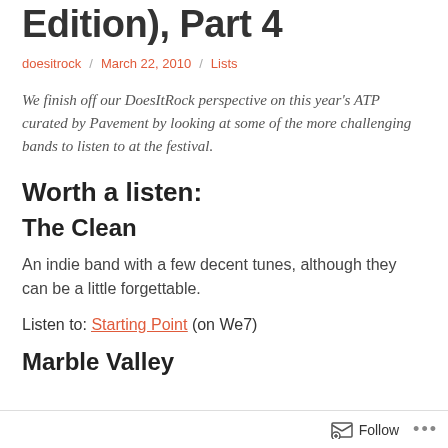Edition), Part 4
doesitrock / March 22, 2010 / Lists
We finish off our DoesItRock perspective on this year's ATP curated by Pavement by looking at some of the more challenging bands to listen to at the festival.
Worth a listen:
The Clean
An indie band with a few decent tunes, although they can be a little forgettable.
Listen to: Starting Point (on We7)
Marble Valley
Follow ...